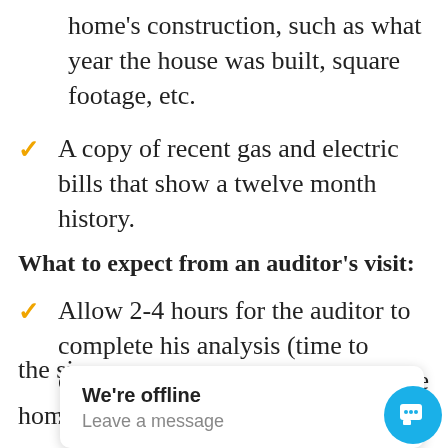home's construction, such as what year the house was built, square footage, etc.
A copy of recent gas and electric bills that show a twelve month history.
What to expect from an auditor's visit:
Allow 2-4 hours for the auditor to complete his analysis (time to completion varies depending on the size and condition of the home).